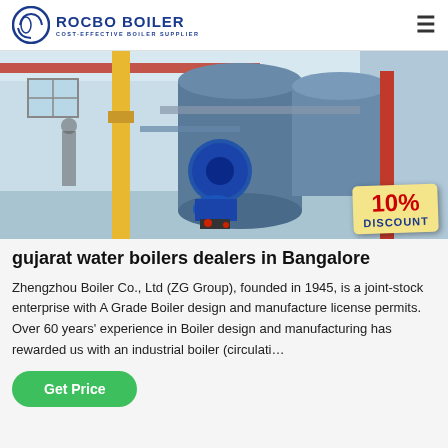ROCBO BOILER — COST-EFFECTIVE BOILER SUPPLIER
[Figure (photo): Industrial boiler room with large cylindrical boilers, yellow and red pipes, blue machinery, and a 10% DISCOUNT badge in the lower right corner.]
gujarat water boilers dealers in Bangalore
Zhengzhou Boiler Co., Ltd (ZG Group), founded in 1945, is a joint-stock enterprise with A Grade Boiler design and manufacture license permits. Over 60 years' experience in Boiler design and manufacturing has rewarded us with an industrial boiler (circulati…
Get Price